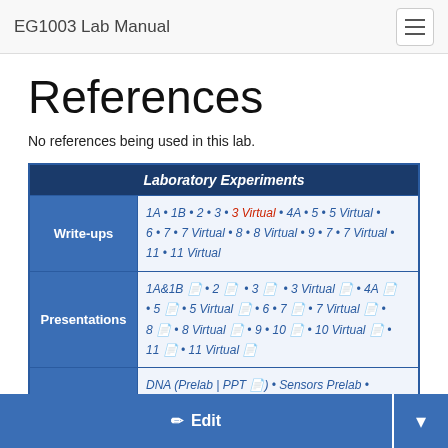EG1003 Lab Manual
References
No references being used in this lab.
| Laboratory Experiments |
| --- |
| Write-ups | 1A • 1B • 2 • 3 • 3 Virtual • 4A • 5 • 5 Virtual • 6 • 7 • 7 Virtual • 8 • 8 Virtual • 9 • 7 • 7 Virtual • 11 • 11 Virtual |
| Presentations | 1A&1B 🗋 • 2 🗋 • 3 🗋 • 3 Virtual 🗋 • 4A 🗋 • 5 🗋 • 5 Virtual 🗋 • 6 • 7 🗋 • 7 Virtual 🗋 • 8 🗋 • 8 Virtual 🗋 • 9 • 10 🗋 • 10 Virtual 🗋 • 11 🗋 • 11 Virtual 🗋 |
| Archived | DNA (Prelab | PPT 🗋) • Sensors Prelab • MagLev (PPT 🗋) • Microphone • Design Failure |
| Back to Main Page |  |